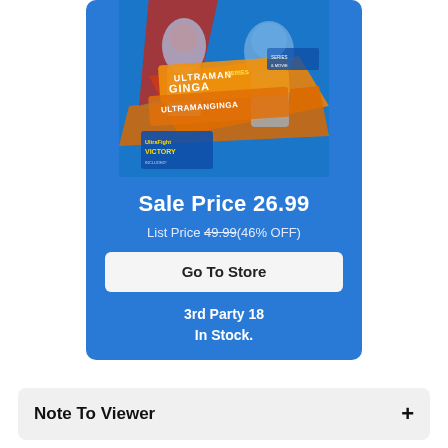[Figure (illustration): Ultraman Ginga product DVD/Blu-ray box set cover image featuring Ultraman characters with Ultraman Ginga Series and UltraFight Victory text on a blue card background]
Sale Price 26.99
List Price 49.99(46% OFF)
Go To Store
3rd Party 18
In Stock.
Note To Viewer +